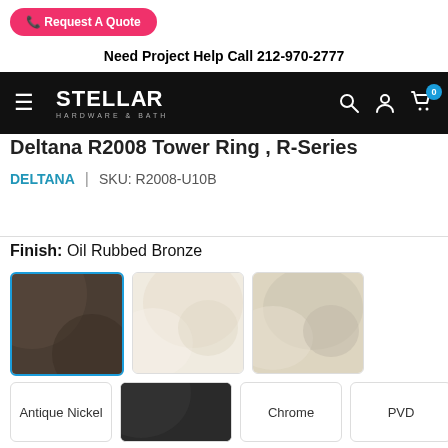[Figure (screenshot): Pink 'Request A Quote' button]
Need Project Help Call 212-970-2777
[Figure (logo): Stellar Hardware & Bath logo on black navigation bar]
Deltana R2008 Tower Ring , R-Series
DELTANA | SKU: R2008-U10B
Finish:  Oil Rubbed Bronze
[Figure (photo): Three finish swatch images: Oil Rubbed Bronze (selected, dark brown), light cream/polished nickel, and light champagne/satin nickel]
[Figure (photo): Row of finish option boxes: Antique Nickel (text label), dark/matte black swatch image, Chrome (text label), PVD (text label)]